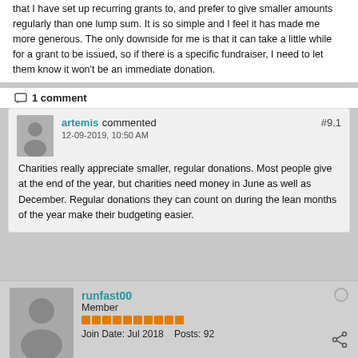that I have set up recurring grants to, and prefer to give smaller amounts regularly than one lump sum. It is so simple and I feel it has made me more generous. The only downside for me is that it can take a little while for a grant to be issued, so if there is a specific fundraiser, I need to let them know it won't be an immediate donation.
1 comment
artemis commented #9.1 12-09-2019, 10:50 AM
Charities really appreciate smaller, regular donations. Most people give at the end of the year, but charities need money in June as well as December. Regular donations they can count on during the lean months of the year make their budgeting easier.
runfast00 Member Join Date: Jul 2018 Posts: 92